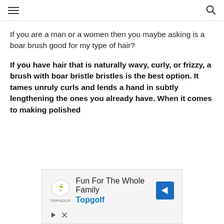≡  🔍
If you are a man or a women then you maybe asking is a boar brush good for my type of hair?
If you have hair that is naturally wavy, curly, or frizzy, a brush with boar bristle bristles is the best option. It tames unruly curls and lends a hand in subtly lengthening the ones you already have. When it comes to making polished
[Figure (screenshot): Topgolf advertisement banner: Fun For The Whole Family - Topgolf, with Topgolf logo, navigation arrow icon, play and close buttons]